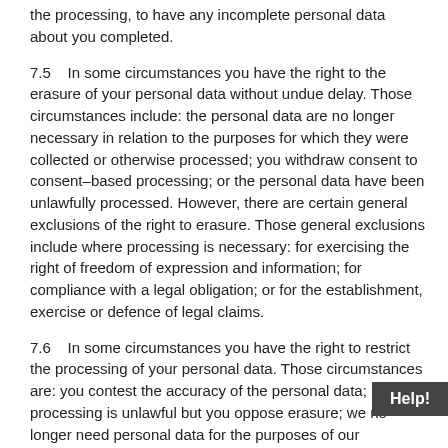the processing, to have any incomplete personal data about you completed.
7.5    In some circumstances you have the right to the erasure of your personal data without undue delay. Those circumstances include: the personal data are no longer necessary in relation to the purposes for which they were collected or otherwise processed; you withdraw consent to consent–based processing; or the personal data have been unlawfully processed. However, there are certain general exclusions of the right to erasure. Those general exclusions include where processing is necessary: for exercising the right of freedom of expression and information; for compliance with a legal obligation; or for the establishment, exercise or defence of legal claims.
7.6    In some circumstances you have the right to restrict the processing of your personal data. Those circumstances are: you contest the accuracy of the personal data; processing is unlawful but you oppose erasure; we no longer need personal data for the purposes of our processing, but require personal data for the establishment, exercise or